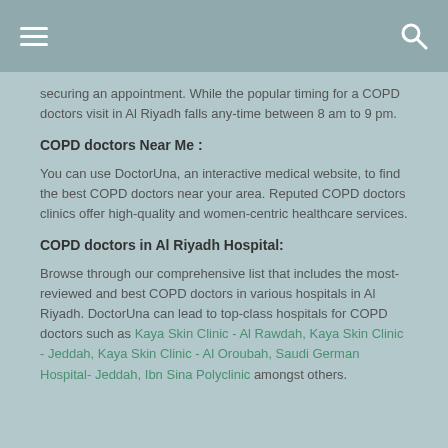[hamburger menu] [search icon]
securing an appointment. While the popular timing for a COPD doctors visit in Al Riyadh falls any-time between 8 am to 9 pm.
COPD doctors Near Me :
You can use DoctorUna, an interactive medical website, to find the best COPD doctors near your area. Reputed COPD doctors clinics offer high-quality and women-centric healthcare services.
COPD doctors in Al Riyadh Hospital:
Browse through our comprehensive list that includes the most-reviewed and best COPD doctors in various hospitals in Al Riyadh. DoctorUna can lead to top-class hospitals for COPD doctors such as Kaya Skin Clinic - Al Rawdah, Kaya Skin Clinic - Jeddah, Kaya Skin Clinic - Al Oroubah, Saudi German Hospital- Jeddah, Ibn Sina Polyclinic amongst others.